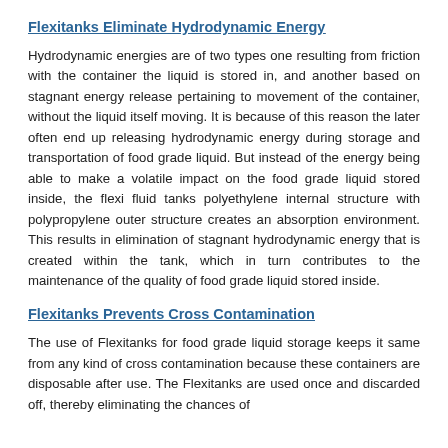Flexitanks Eliminate Hydrodynamic Energy
Hydrodynamic energies are of two types one resulting from friction with the container the liquid is stored in, and another based on stagnant energy release pertaining to movement of the container, without the liquid itself moving. It is because of this reason the later often end up releasing hydrodynamic energy during storage and transportation of food grade liquid. But instead of the energy being able to make a volatile impact on the food grade liquid stored inside, the flexi fluid tanks polyethylene internal structure with polypropylene outer structure creates an absorption environment. This results in elimination of stagnant hydrodynamic energy that is created within the tank, which in turn contributes to the maintenance of the quality of food grade liquid stored inside.
Flexitanks Prevents Cross Contamination
The use of Flexitanks for food grade liquid storage keeps it same from any kind of cross contamination because these containers are disposable after use. The Flexitanks are used once and discarded off, thereby eliminating the chances of